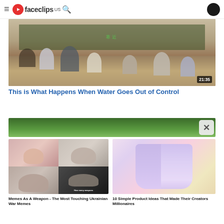faceclips US
[Figure (screenshot): Video thumbnail showing people running/fighting in an outdoor scene with Chinese text on wall in background. Duration timestamp 21:35 shown.]
This is What Happens When Water Goes Out of Control
[Figure (screenshot): Partially visible green nature/bird video thumbnail]
[Figure (screenshot): 2x2 grid of meme images including people with shocked expressions and a military/political figure with 'How many weapons' text]
Memes As A Weapon - The Most Touching Ukrainian War Memes
[Figure (photo): Product image showing white/light purple leggings on illustrated figure]
10 Simple Product Ideas That Made Their Creators Millionaires